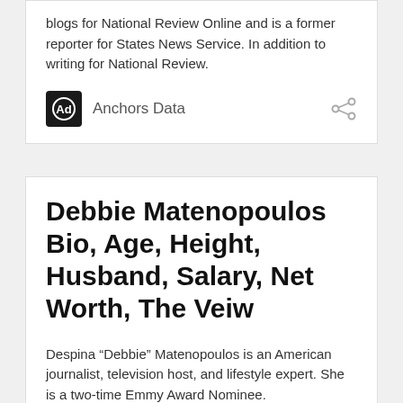blogs for National Review Online and is a former reporter for States News Service. In addition to writing for National Review.
[Figure (other): Ad icon with 'Anchors Data' label and share icon]
Debbie Matenopoulos Bio, Age, Height, Husband, Salary, Net Worth, The Veiw
Despina “Debbie” Matenopoulos is an American journalist, television host, and lifestyle expert. She is a two-time Emmy Award Nominee.
[Figure (other): Ad icon with 'Anchors Data' label and share icon]